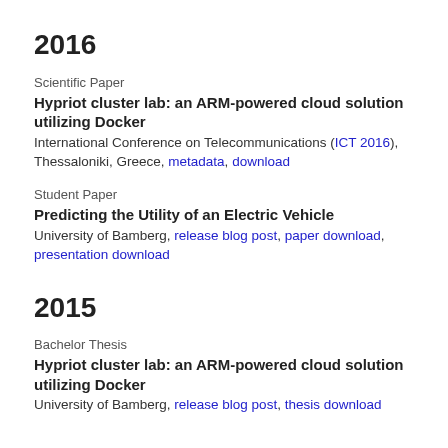2016
Scientific Paper
Hypriot cluster lab: an ARM-powered cloud solution utilizing Docker
International Conference on Telecommunications (ICT 2016), Thessaloniki, Greece, metadata, download
Student Paper
Predicting the Utility of an Electric Vehicle
University of Bamberg, release blog post, paper download, presentation download
2015
Bachelor Thesis
Hypriot cluster lab: an ARM-powered cloud solution utilizing Docker
University of Bamberg, release blog post, thesis download